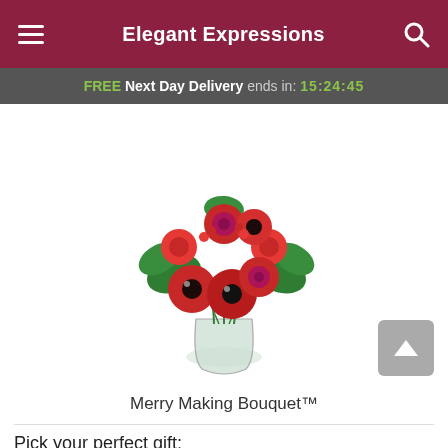Elegant Expressions
FREE Next Day Delivery ends in: 15:24:45
[Figure (photo): A red holiday floral bouquet featuring red anemones, red roses, red carnations, and green foliage in a clear glass vase. The arrangement is full and lush with dark-centered anemones as focal flowers.]
Merry Making Bouquet™
Pick your perfect gift: